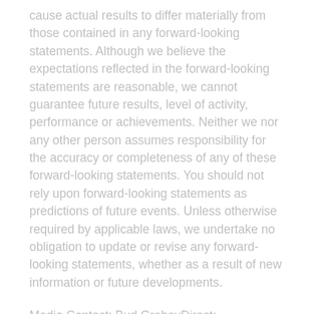cause actual results to differ materially from those contained in any forward-looking statements. Although we believe the expectations reflected in the forward-looking statements are reasonable, we cannot guarantee future results, level of activity, performance or achievements. Neither we nor any other person assumes responsibility for the accuracy or completeness of any of these forward-looking statements. You should not rely upon forward-looking statements as predictions of future events. Unless otherwise required by applicable laws, we undertake no obligation to update or revise any forward-looking statements, whether as a result of new information or future developments.
Media Contact: Bud GrebeyDirect: +1.203.705.3721
Investor Contact: Brennen ArndtDirect: +1.203.705.3722